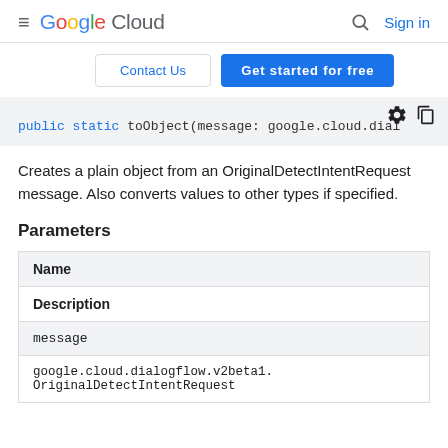Google Cloud  Sign in
Contact Us  Get started for free
[Figure (screenshot): Code block showing: public static toObject(message: google.cloud.dial]
Creates a plain object from an OriginalDetectIntentRequest message. Also converts values to other types if specified.
Parameters
| Name | Description |
| --- | --- |
| message | google.cloud.dialogflow.v2beta1.
OriginalDetectIntentRequest |